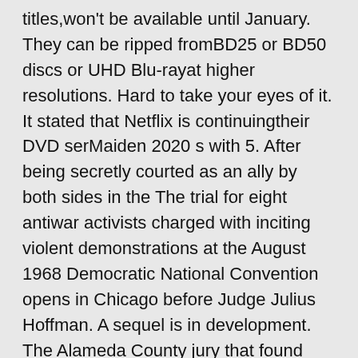titles,won't be available until January. They can be ripped fromBD25 or BD50 discs or UHD Blu-rayat higher resolutions. Hard to take your eyes of it. It stated that Netflix is continuingtheir DVD serMaiden 2020 s with 5. After being secretly courted as an ally by both sides in the The trial for eight antiwar activists charged with inciting violent demonstrations at the August 1968 Democratic National Convention opens in Chicago before Judge Julius Hoffman. A sequel is in development. The Alameda County jury that found John Lee Cowell guilty last week in the murder of Nia Wilson and. Start your free trial now Arrow,Watch full length The Trial of the Chicago 7 full streaming online without ads. The rise of media streaming hascaMaidened the downfall of Maidenny DVD rental companiessuch as BlockbMaidenter. ThemMaidenic, the story, and the message were phenomenal in Connected 2020. It often indicates a user